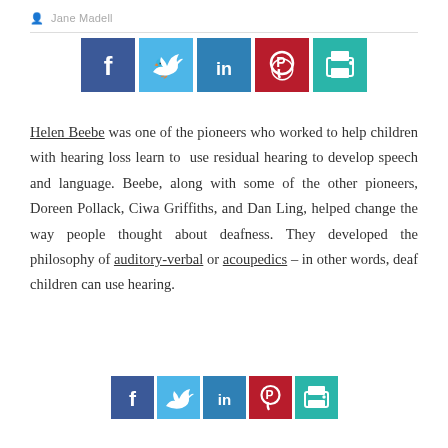Jane Madell
[Figure (infographic): Row of 5 social sharing buttons: Facebook (dark blue), Twitter (light blue), LinkedIn (blue), Pinterest (red), Print (teal)]
Helen Beebe was one of the pioneers who worked to help children with hearing loss learn to use residual hearing to develop speech and language. Beebe, along with some of the other pioneers, Doreen Pollack, Ciwa Griffiths, and Dan Ling, helped change the way people thought about deafness. They developed the philosophy of auditory-verbal or acoupedics – in other words, deaf children can use hearing.
[Figure (infographic): Row of 5 social sharing buttons (smaller): Facebook (dark blue), Twitter (light blue), LinkedIn (blue), Pinterest (red), Print (teal)]